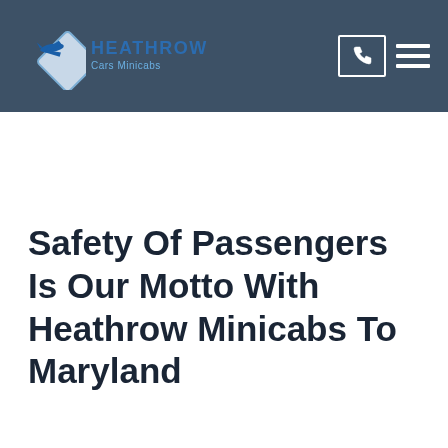[Figure (logo): Heathrow Cars Minicabs logo with diamond shape containing an airplane icon and text 'HEATHROW Cars Minicabs' in blue]
Safety Of Passengers Is Our Motto With Heathrow Minicabs To Maryland